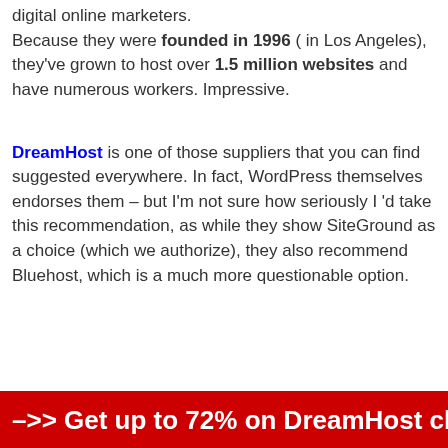digital online marketers. Because they were founded in 1996 ( in Los Angeles), they've grown to host over 1.5 million websites and have numerous workers. Impressive.
DreamHost is one of those suppliers that you can find suggested everywhere. In fact, WordPress themselves endorses them – but I'm not sure how seriously I 'd take this recommendation, as while they show SiteGround as a choice (which we authorize), they also recommend Bluehost, which is a much more questionable option.
–>> Get up to 72% on DreamHost click